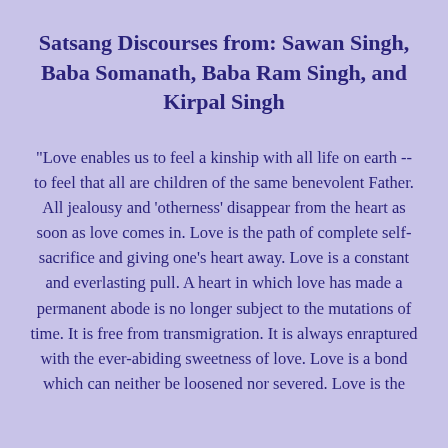Satsang Discourses from: Sawan Singh, Baba Somanath, Baba Ram Singh, and Kirpal Singh
"Love enables us to feel a kinship with all life on earth -- to feel that all are children of the same benevolent Father. All jealousy and 'otherness' disappear from the heart as soon as love comes in. Love is the path of complete self-sacrifice and giving one's heart away. Love is a constant and everlasting pull. A heart in which love has made a permanent abode is no longer subject to the mutations of time. It is free from transmigration. It is always enraptured with the ever-abiding sweetness of love. Love is a bond which can neither be loosened nor severed. Love is the